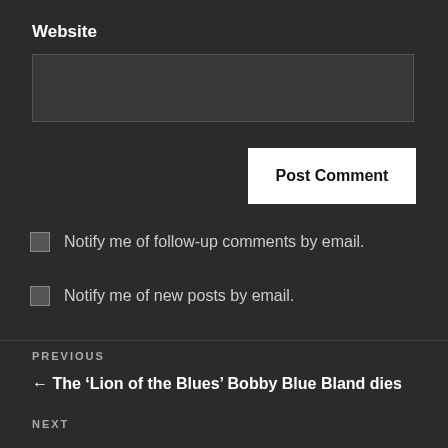Website
Post Comment
Notify me of follow-up comments by email.
Notify me of new posts by email.
PREVIOUS
← The ‘Lion of the Blues’ Bobby Blue Bland dies
NEXT